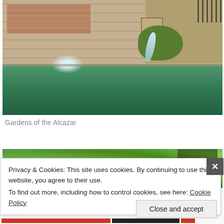[Figure (photo): Water fountain spout flowing into a green pool, with a stone wall covered in moss behind it. Sunlit garden setting.]
Gardens of the Alcazar
[Figure (photo): Partial view of a garden with dense green trees, partially obscured by a cookie consent banner.]
Privacy & Cookies: This site uses cookies. By continuing to use this website, you agree to their use.
To find out more, including how to control cookies, see here: Cookie Policy
Close and accept